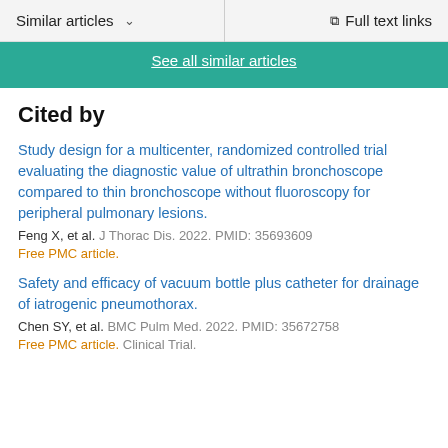Similar articles  ∨  Full text links
See all similar articles
Cited by
Study design for a multicenter, randomized controlled trial evaluating the diagnostic value of ultrathin bronchoscope compared to thin bronchoscope without fluoroscopy for peripheral pulmonary lesions.
Feng X, et al. J Thorac Dis. 2022. PMID: 35693609
Free PMC article.
Safety and efficacy of vacuum bottle plus catheter for drainage of iatrogenic pneumothorax.
Chen SY, et al. BMC Pulm Med. 2022. PMID: 35672758
Free PMC article. Clinical Trial.